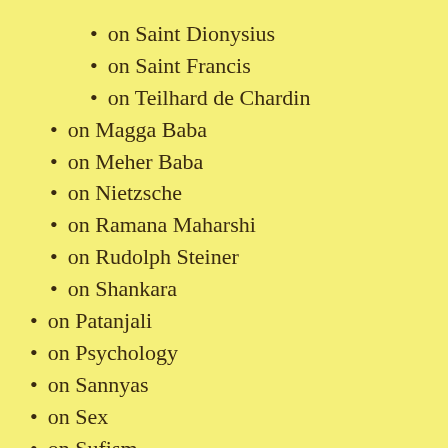on Saint Dionysius
on Saint Francis
on Teilhard de Chardin
on Magga Baba
on Meher Baba
on Nietzsche
on Ramana Maharshi
on Rudolph Steiner
on Shankara
on Patanjali
on Psychology
on Sannyas
on Sex
on Sufism
on Tantra
The Book of Secrets